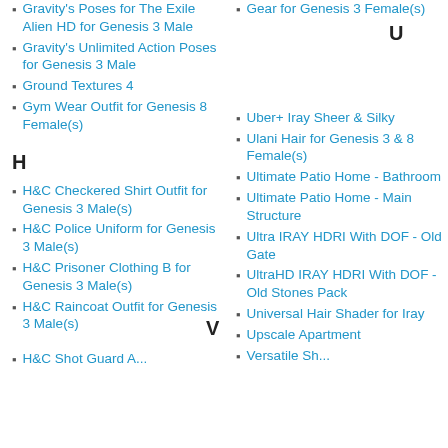Gravity's Poses for The Exile Alien HD for Genesis 3 Male
Gravity's Unlimited Action Poses for Genesis 3 Male
Ground Textures 4
Gym Wear Outfit for Genesis 8 Female(s)
H
H&C Checkered Shirt Outfit for Genesis 3 Male(s)
H&C Police Uniform for Genesis 3 Male(s)
H&C Prisoner Clothing B for Genesis 3 Male(s)
H&C Raincoat Outfit for Genesis 3 Male(s)
H&C Shot Guard A...
Gear for Genesis 3 Female(s)
U
Uber+ Iray Sheer & Silky
Ulani Hair for Genesis 3 & 8 Female(s)
Ultimate Patio Home - Bathroom
Ultimate Patio Home - Main Structure
Ultra IRAY HDRI With DOF - Old Gate
UltraHD IRAY HDRI With DOF - Old Stones Pack
Universal Hair Shader for Iray
Upscale Apartment
V
Versatile Sh...